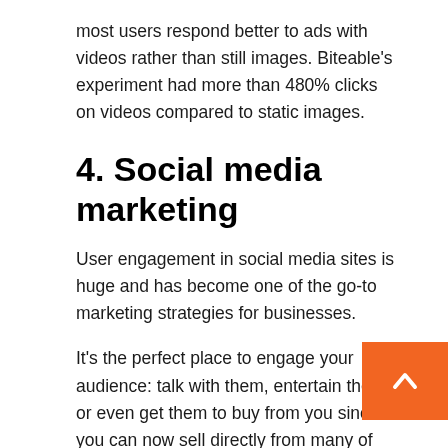most users respond better to ads with videos rather than still images. Biteable's experiment had more than 480% clicks on videos compared to static images.
4. Social media marketing
User engagement in social media sites is huge and has become one of the go-to marketing strategies for businesses.
It's the perfect place to engage your audience: talk with them, entertain them, or even get them to buy from you since you can now sell directly from many of these platforms.
How to put social media marketing into action: